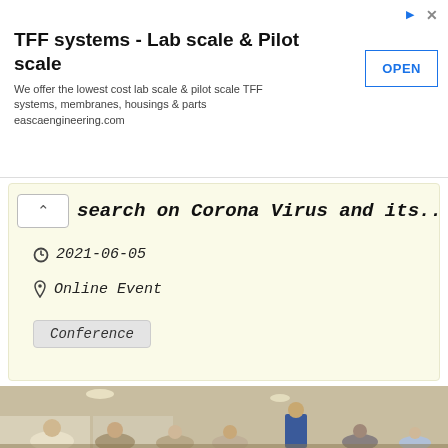[Figure (other): Advertisement banner: TFF systems - Lab scale & Pilot scale. Text: We offer the lowest cost lab scale & pilot scale TFF systems, membranes, housings & parts eascaengineering.com. Button: OPEN]
search on Corona Virus and its...
2021-06-05
Online Event
Conference
[Figure (photo): Conference room scene with multiple attendees seated at tables, one person standing at the front. Indoor room with recessed ceiling lights and white walls.]